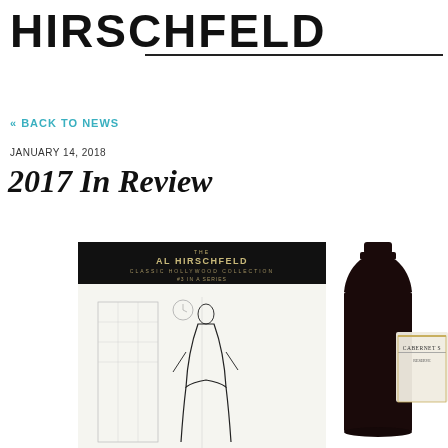HIRSCHFELD
« BACK TO NEWS
JANUARY 14, 2018
2017 In Review
[Figure (photo): Al Hirschfeld Classic Hollywood Collection #3 in a series box label above a line drawing illustration of a woman in black dress in city setting]
[Figure (photo): Dark wine bottle with Cabernet Sauvignon label partially visible on the right side]